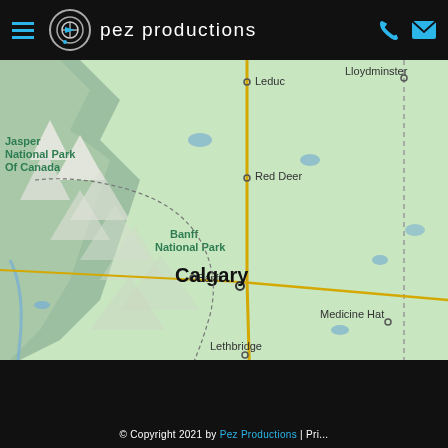pez productions
[Figure (map): Map of Alberta, Canada showing cities: Leduc, Lloydminster, Red Deer, Banff, Calgary, Medicine Hat, Lethbridge, and national parks: Jasper National Park Of Canada, Banff National Park. Roads and geographic features visible.]
© Copyright 2021 by Pez Productions | Pri...